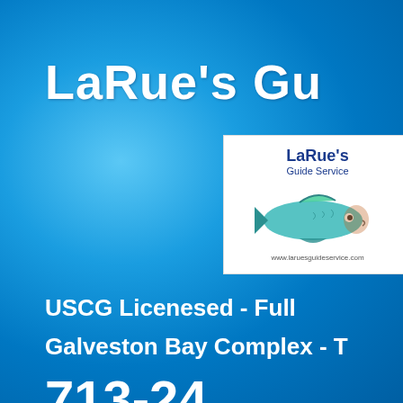LaRue's Gu
[Figure (logo): LaRue's Guide Service logo box with white background, blue text 'LaRue's' and 'Guide Service', illustration of a fish (tarpon/snook), and website www.laruesguideservice.com]
USCG Licenesed - Full
Galveston Bay Complex - T
713-24